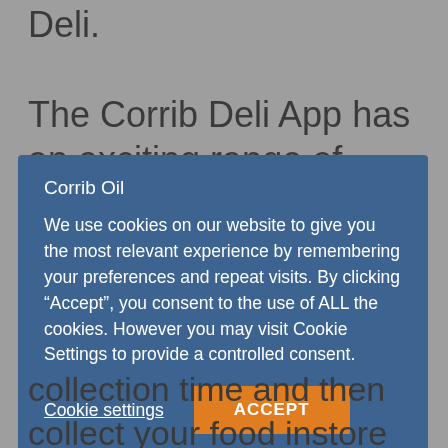Deli.
The Corrib Deli App has an exciting range of your favourite items from Corrib Deli such as the Breakfast Roll, the Chicken
Corrib Oil
We use cookies on our website to give you the most relevant experience by remembering your preferences and repeat visits. By clicking “Accept”, you consent to the use of ALL the cookies. However you may visit Cookie Settings to provide a controlled consent.
Cookie settings
ACCEPT
collection time and then collect your food instore with no queue. It’s that simple and very handy in these times when people don’t want to delay.